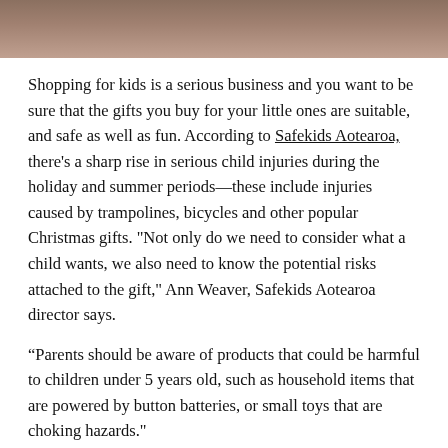[Figure (photo): Partial photo of a child holding something, brown/warm toned background, cropped near top of page]
Shopping for kids is a serious business and you want to be sure that the gifts you buy for your little ones are suitable, and safe as well as fun. According to Safekids Aotearoa, there's a sharp rise in serious child injuries during the holiday and summer periods—these include injuries caused by trampolines, bicycles and other popular Christmas gifts. "Not only do we need to consider what a child wants, we also need to know the potential risks attached to the gift," Ann Weaver, Safekids Aotearoa director says.
“Parents should be aware of products that could be harmful to children under 5 years old, such as household items that are powered by button batteries, or small toys that are choking hazards."